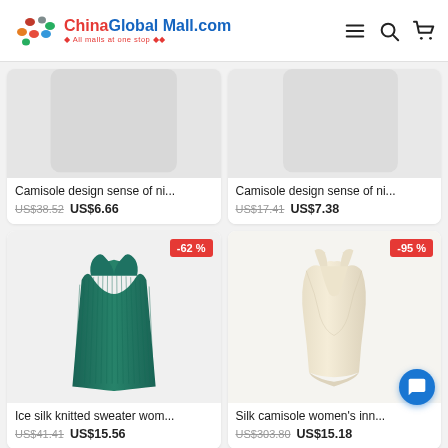[Figure (logo): ChinaGlobalMall.com logo with colored dots and tagline 'All malls at one stop']
Camisole design sense of ni...
US$38.52 US$6.66
Camisole design sense of ni...
US$17.41 US$7.38
[Figure (photo): Teal/dark green ribbed knitted sleeveless sweater/camisole on white background, -62% discount badge]
Ice silk knitted sweater wom...
US$41.41 US$15.56
[Figure (photo): Cream/beige silk camisole on white background, -95% discount badge]
Silk camisole women's inn...
US$303.80 US$15.18